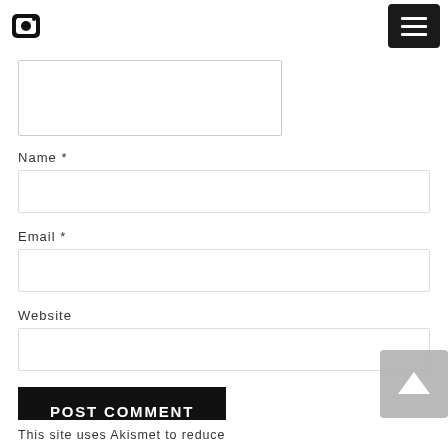[Instagram logo icon] [Hamburger menu button]
[Figure (other): Partial text area input box (comment field, partially visible at top)]
Name *
[Figure (other): Name text input field (empty)]
Email *
[Figure (other): Email text input field (empty)]
Website
[Figure (other): Website text input field (empty)]
[Figure (other): POST COMMENT button - black background, white text]
This site uses Akismet to reduce